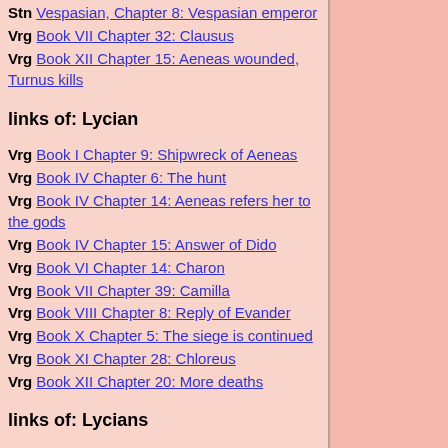Stn Vespasian, Chapter 8: Vespasian emperor
Vrg Book VII Chapter 32: Clausus
Vrg Book XII Chapter 15: Aeneas wounded, Turnus kills
links of: Lycian
Vrg Book I Chapter 9: Shipwreck of Aeneas
Vrg Book IV Chapter 6: The hunt
Vrg Book IV Chapter 14: Aeneas refers her to the gods
Vrg Book IV Chapter 15: Answer of Dido
Vrg Book VI Chapter 14: Charon
Vrg Book VII Chapter 39: Camilla
Vrg Book VIII Chapter 8: Reply of Evander
Vrg Book X Chapter 5: The siege is continued
Vrg Book XI Chapter 28: Chloreus
Vrg Book XII Chapter 20: More deaths
links of: Lycians
Stn Claudius, Chapter 25: Administration of justice (cont.)